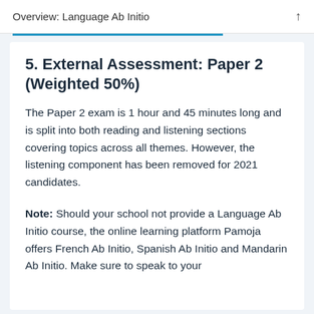Overview: Language Ab Initio
5. External Assessment: Paper 2 (Weighted 50%)
The Paper 2 exam is 1 hour and 45 minutes long and is split into both reading and listening sections covering topics across all themes. However, the listening component has been removed for 2021 candidates.
Note: Should your school not provide a Language Ab Initio course, the online learning platform Pamoja offers French Ab Initio, Spanish Ab Initio and Mandarin Ab Initio. Make sure to speak to your